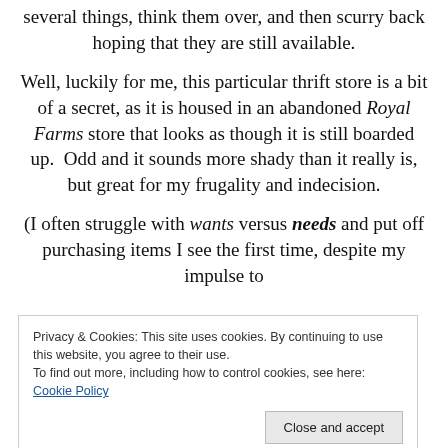several things, think them over, and then scurry back hoping that they are still available.
Well, luckily for me, this particular thrift store is a bit of a secret, as it is housed in an abandoned Royal Farms store that looks as though it is still boarded up. Odd and it sounds more shady than it really is, but great for my frugality and indecision.
(I often struggle with wants versus needs and put off purchasing items I see the first time, despite my impulse to buy.)
Privacy & Cookies: This site uses cookies. By continuing to use this website, you agree to their use.
To find out more, including how to control cookies, see here: Cookie Policy
Here are my goodies: